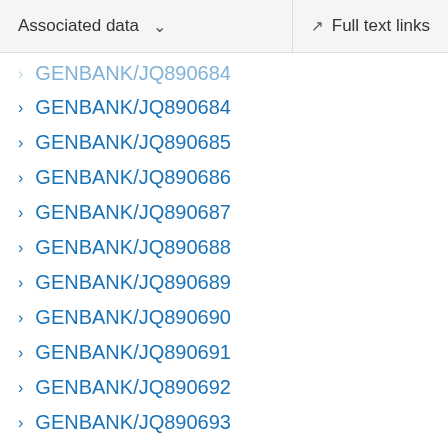Associated data   Full text links
GENBANK/JQ890684
GENBANK/JQ890685
GENBANK/JQ890686
GENBANK/JQ890687
GENBANK/JQ890688
GENBANK/JQ890689
GENBANK/JQ890690
GENBANK/JQ890691
GENBANK/JQ890692
GENBANK/JQ890693
GENBANK/JQ890694
GENBANK/JQ890695
GENBANK/JQ890696
GENBANK/JQ890697